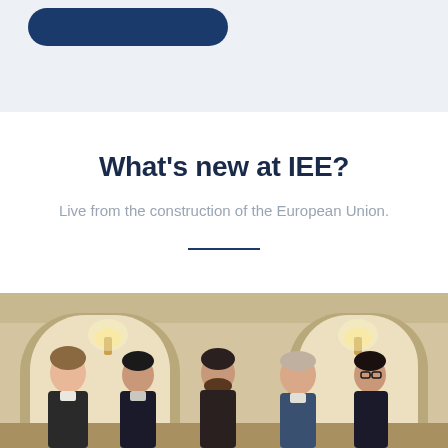[Figure (other): Blue rounded rectangle button element in top light-gray banner area]
What's new at IEE?
Live from the construction of the European Union.
[Figure (photo): Group photo of five men standing inside a building with arched alcoves and wall sconce lighting]